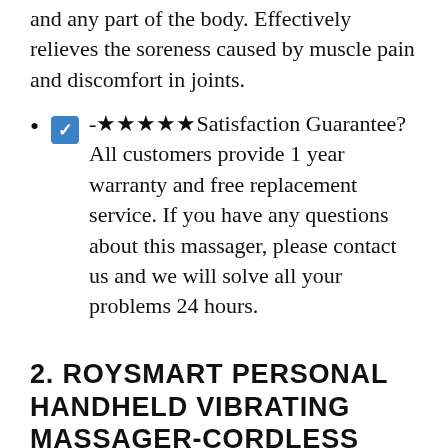and any part of the body. Effectively relieves the soreness caused by muscle pain and discomfort in joints.
☑-★★★★★Satisfaction Guarantee？ All customers provide 1 year warranty and free replacement service. If you have any questions about this massager, please contact us and we will solve all your problems 24 hours.
2. ROYSMART PERSONAL HANDHELD VIBRATING MASSAGER-CORDLESS ELECTRIC HANDHELD PERCUSSION MUSCLE